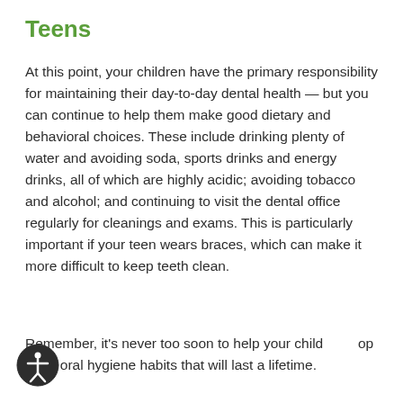Teens
At this point, your children have the primary responsibility for maintaining their day-to-day dental health — but you can continue to help them make good dietary and behavioral choices. These include drinking plenty of water and avoiding soda, sports drinks and energy drinks, all of which are highly acidic; avoiding tobacco and alcohol; and continuing to visit the dental office regularly for cleanings and exams. This is particularly important if your teen wears braces, which can make it more difficult to keep teeth clean.
Remember, it's never too soon to help your child develop good oral hygiene habits that will last a lifetime.